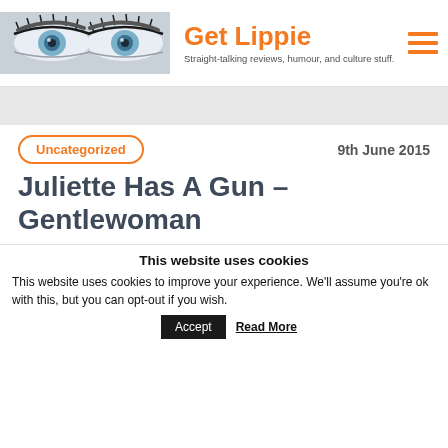[Figure (photo): Close-up photo of two eyes with mascara and blue eyes against a white/blue toned background, used as blog header logo.]
Get Lippie
Straight-talking reviews, humour, and culture stuff.
Uncategorized
9th June 2015
Juliette Has A Gun – Gentlewoman
This website uses cookies
This website uses cookies to improve your experience. We'll assume you're ok with this, but you can opt-out if you wish.
Accept  Read More